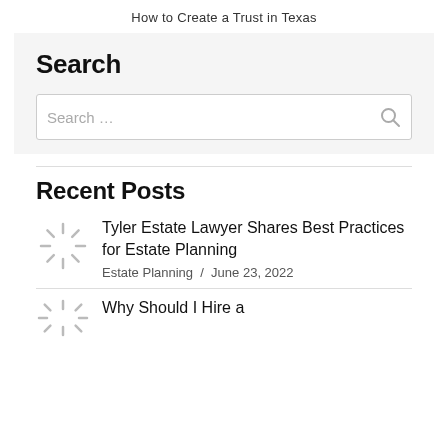How to Create a Trust in Texas
Search
Search …
Recent Posts
Tyler Estate Lawyer Shares Best Practices for Estate Planning
Estate Planning / June 23, 2022
Why Should I Hire a